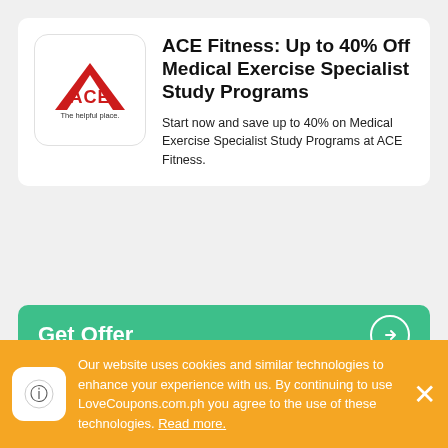[Figure (logo): ACE Hardware logo - red triangle with ACE text and 'The helpful place.' tagline]
ACE Fitness: Up to 40% Off Medical Exercise Specialist Study Programs
Start now and save up to 40% on Medical Exercise Specialist Study Programs at ACE Fitness.
Get Offer
Terms
ACE Fitness: 30% Off
Our website uses cookies and similar technologies to enhance your experience with us. By continuing to use LoveCoupons.com.ph you agree to the use of these technologies. Read more.